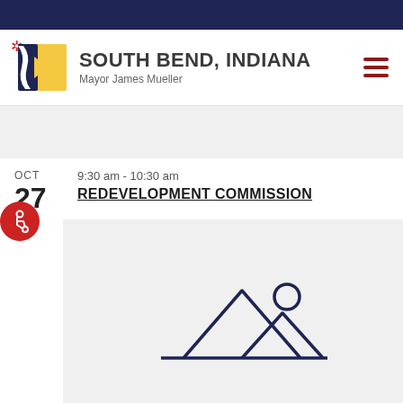[Figure (logo): South Bend Indiana city logo with mayor name]
9:30 am - 10:30 am
REDEVELOPMENT COMMISSION
[Figure (illustration): Mountain landscape placeholder image icon]